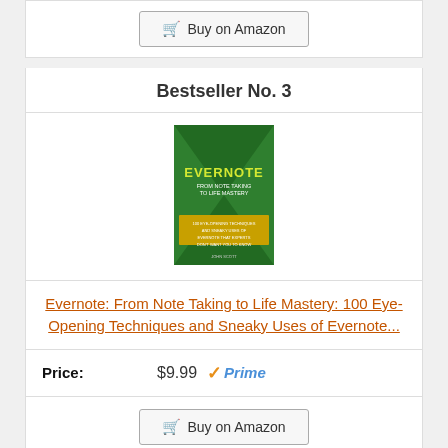[Figure (other): Buy on Amazon button at top of page]
Bestseller No. 3
[Figure (illustration): Book cover for Evernote: From Note Taking to Life Mastery by John Scott. Green cover with yellow title text and white subtitle text.]
Evernote: From Note Taking to Life Mastery: 100 Eye-Opening Techniques and Sneaky Uses of Evernote...
Price: $9.99 Prime
[Figure (other): Buy on Amazon button at bottom of page]